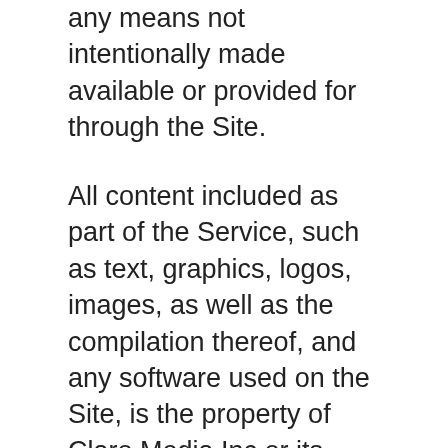any means not intentionally made available or provided for through the Site.
All content included as part of the Service, such as text, graphics, logos, images, as well as the compilation thereof, and any software used on the Site, is the property of Claro Media Inc or its suppliers and protected by copyright and other laws that protect intellectual property and proprietary rights. You agree to observe and abide by all copyright and other proprietary notices, legends or other restrictions contained in any such content and will not make any changes thereto.
You will not modify, publish, transmit, reverse engineer, participate in the transfer